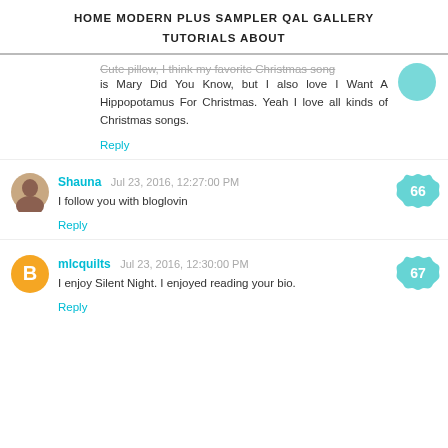HOME   MODERN PLUS SAMPLER QAL   GALLERY   TUTORIALS   ABOUT
Cute pillow, I think my favorite Christmas song is Mary Did You Know, but I also love I Want A Hippopotamus For Christmas. Yeah I love all kinds of Christmas songs.
Reply
Shauna  Jul 23, 2016, 12:27:00 PM
I follow you with bloglovin
Reply
mlcquilts  Jul 23, 2016, 12:30:00 PM
I enjoy Silent Night. I enjoyed reading your bio.
Reply